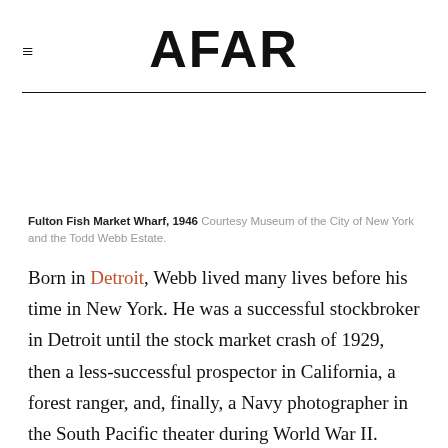AFAR
Fulton Fish Market Wharf, 1946 Courtesy Museum of the City of New York and the Todd Webb Estate.
Born in Detroit, Webb lived many lives before his time in New York. He was a successful stockbroker in Detroit until the stock market crash of 1929, then a less-successful prospector in California, a forest ranger, and, finally, a Navy photographer in the South Pacific theater during World War II.